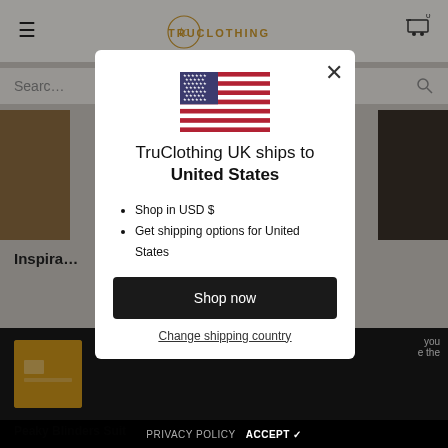[Figure (screenshot): TruClothing website background showing header with hamburger menu, TruClothing logo, cart icon, search bar, product images, and bottom dark section with cookie/privacy bar]
[Figure (illustration): US flag SVG illustration shown centered in modal dialog]
TruClothing UK ships to United States
Shop in USD $
Get shipping options for United States
Shop now
Change shipping country
PRIVACY POLICY   ACCEPT ✓